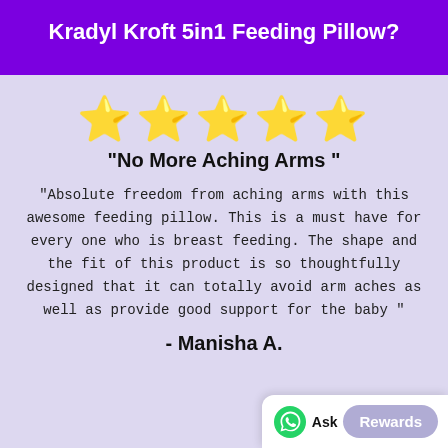Kradyl Kroft 5in1 Feeding Pillow?
[Figure (infographic): Five gold star rating icons in a row]
"No More Aching Arms "
"Absolute freedom from aching arms with this awesome feeding pillow. This is a must have for every one who is breast feeding. The shape and the fit of this product is so thoughtfully designed that it can totally avoid arm aches as well as provide good support for the baby "
- Manisha A.